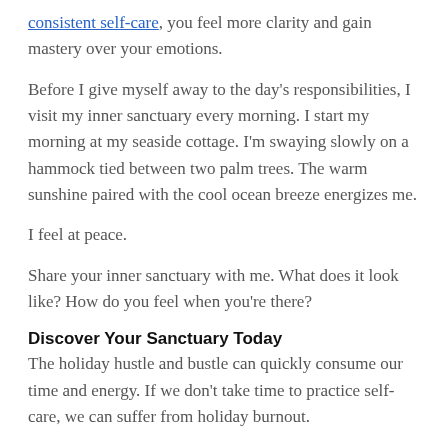consistent self-care, you feel more clarity and gain mastery over your emotions.
Before I give myself away to the day's responsibilities, I visit my inner sanctuary every morning. I start my morning at my seaside cottage. I'm swaying slowly on a hammock tied between two palm trees. The warm sunshine paired with the cool ocean breeze energizes me.
I feel at peace.
Share your inner sanctuary with me. What does it look like? How do you feel when you're there?
Discover Your Sanctuary Today
The holiday hustle and bustle can quickly consume our time and energy. If we don't take time to practice self-care, we can suffer from holiday burnout.